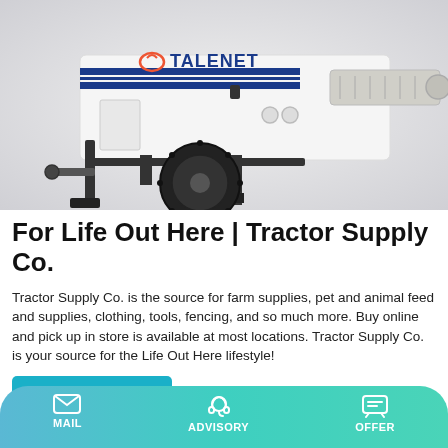[Figure (photo): White TALENET branded trailer-mounted concrete pump with a large black tire and auger/screw conveyor attachment, on a light gray background.]
For Life Out Here | Tractor Supply Co.
Tractor Supply Co. is the source for farm supplies, pet and animal feed and supplies, clothing, tools, fencing, and so much more. Buy online and pick up in store is available at most locations. Tractor Supply Co. is your source for the Life Out Here lifestyle!
MAIL   ADVISORY   OFFER